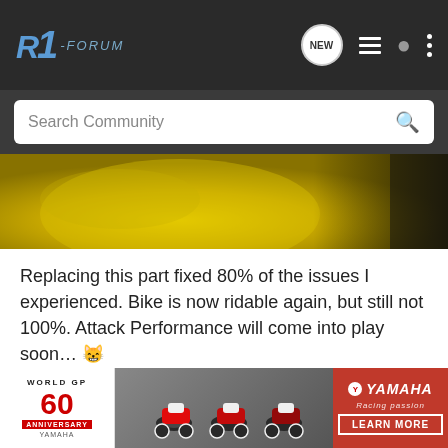R1-Forum
Search Community
[Figure (photo): Close-up photo of a yellow motorcycle part, likely a fuel tank or fairing, with dark background on right side]
Replacing this part fixed 80% of the issues I experienced. Bike is now ridable again, but still not 100%. Attack Performance will come into play soon… 😸
New NGK Spark Plugs and Ignition Coils (not pictured)
[Figure (screenshot): Yamaha 60th World GP Anniversary advertisement banner showing three racing motorcycles and a Learn More button]